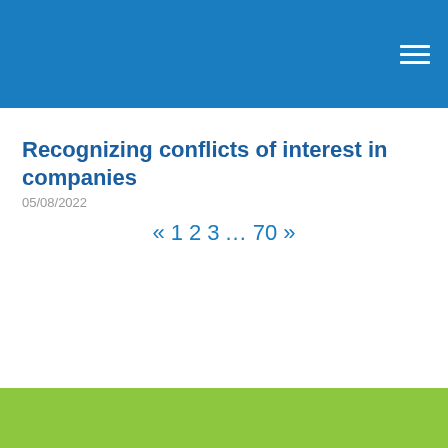Recognizing conflicts of interest in companies
05/08/2022
« 1 2 3 … 70 »